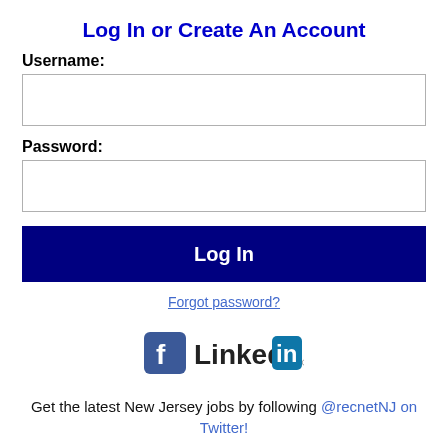Log In or Create An Account
Username:
Password:
[Figure (other): Log In button — dark navy blue rectangle with white bold text 'Log In']
Forgot password?
[Figure (logo): Facebook logo icon and LinkedIn logo side by side]
Get the latest New Jersey jobs by following @recnetNJ on Twitter!